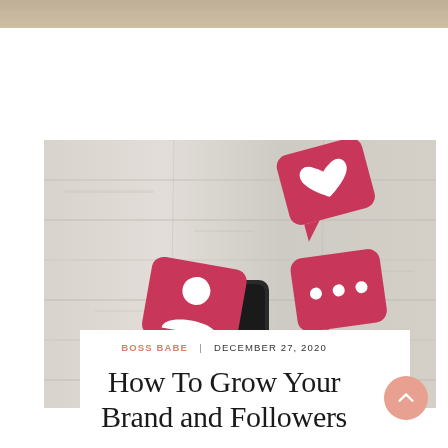[Figure (photo): Top cropped image strip showing a beige/tan background, partial view of a previous image]
[Figure (photo): Photo of three pink speech bubble icons (heart, person/follower, comment) floating above a smartphone on a whitewashed wood background]
BOSS BABE | DECEMBER 27, 2020
How To Grow Your Brand and Followers